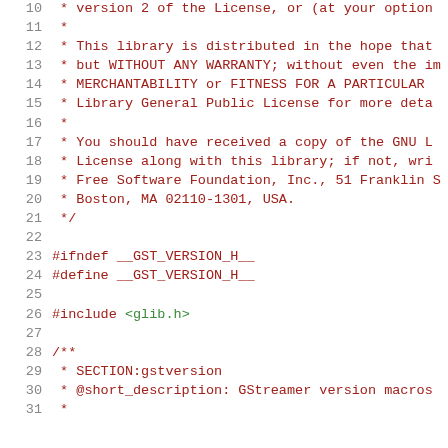Source code listing lines 10-31 of a C header file (gstversion.h) with a GNU LGPL license comment block and preprocessor directives
10:  * version 2 of the License, or (at your option
11:  *
12:  * This library is distributed in the hope that
13:  * but WITHOUT ANY WARRANTY; without even the im
14:  * MERCHANTABILITY or FITNESS FOR A PARTICULAR
15:  * Library General Public License for more deta
16:  *
17:  * You should have received a copy of the GNU L
18:  * License along with this library; if not, wri
19:  * Free Software Foundation, Inc., 51 Franklin S
20:  * Boston, MA 02110-1301, USA.
21:  */
22:
23: #ifndef __GST_VERSION_H__
24: #define __GST_VERSION_H__
25:
26: #include <glib.h>
27:
28: /**
29:  * SECTION:gstversion
30:  * @short_description: GStreamer version macros
31:  *